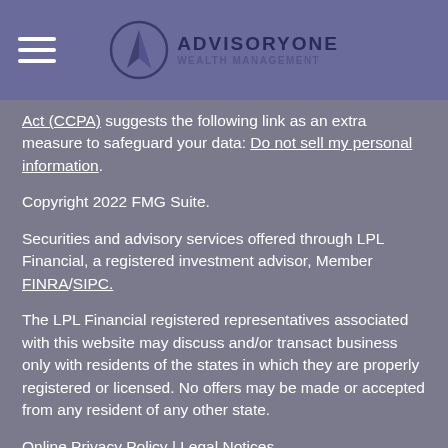AdvisoryOne
Act (CCPA) suggests the following link as an extra measure to safeguard your data: Do not sell my personal information.
Copyright 2022 FMG Suite.
Securities and advisory services offered through LPL Financial, a registered investment advisor, Member FINRA/SIPC.
The LPL Financial registered representatives associated with this website may discuss and/or transact business only with residents of the states in which they are properly registered or licensed. No offers may be made or accepted from any resident of any other state.
Online Privacy Policy | Legal Notices